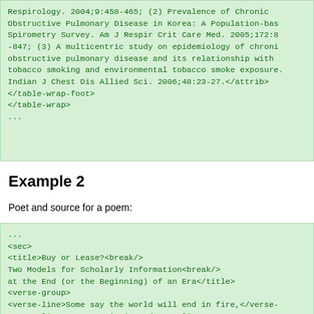Respirology. 2004;9:458-465; (2) Prevalence of Chronic Obstructive Pulmonary Disease in Korea: A Population-based Spirometry Survey. Am J Respir Crit Care Med. 2005;172:8-847; (3) A multicentric study on epidemiology of chronic obstructive pulmonary disease and its relationship with tobacco smoking and environmental tobacco smoke exposure. Indian J Chest Dis Allied Sci. 2006;48:23-27.</attrib>
</table-wrap-foot>
</table-wrap>
...
Example 2
Poet and source for a poem:
...
<sec>
<title>Buy or Lease?<break/>
Two Models for Scholarly Information<break/>
at the End (or the Beginning) of an Era</title>
<verse-group>
<verse-line>Some say the world will end in fire,</verse-line>
<verse-line>Some say in ice.</verse-line>
<verse-line>From what I&rsquo;ve tasted of desire</verse-line>
<verse-line>I hold with those who favor fire.</verse-line>
<verse-line>But if it had to perish twice,</verse-line>
<verse-line>I think I know enough of hate</verse-line>